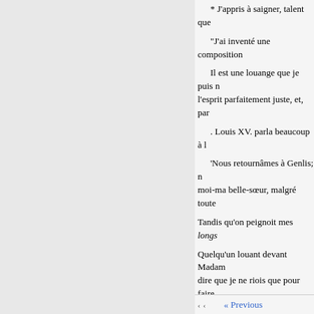* J'appris à saigner, talent que
"J'ai inventé une composition
Il est une louange que je puis n l'esprit parfaitement juste, et, par
. Louis XV. parla beaucoup à l
'Nous retournâmes à Genlis; n moi-ma belle-sœur, malgré toute
Tandis qu'on peignoit mes longs
Quelqu'un louant devant Madam dire que je ne riois que pour faire affectation.'
Quand on leva la toile je fus appl
· Pour la première fois je suivi chasse du cerf me parut charman
Madame de P. vouloit me mont
'Tous mes premiers mouvement
« Previous